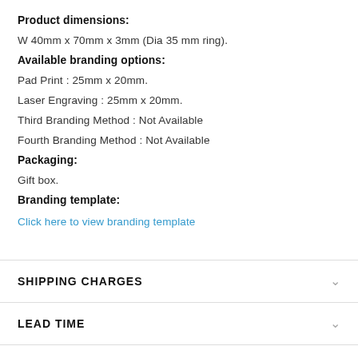Product dimensions:
W 40mm x 70mm x 3mm (Dia 35 mm ring).
Available branding options:
Pad Print : 25mm x 20mm.
Laser Engraving : 25mm x 20mm.
Third Branding Method : Not Available
Fourth Branding Method : Not Available
Packaging:
Gift box.
Branding template:
Click here to view branding template
SHIPPING CHARGES
LEAD TIME